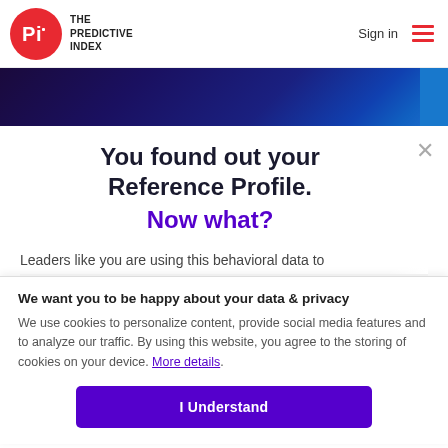[Figure (logo): The Predictive Index logo: red circle with PI letters in white, text THE PREDICTIVE INDEX to the right]
Sign in
[Figure (illustration): Hamburger menu icon with three red horizontal lines]
[Figure (illustration): Dark blue gradient hero banner with accent stripe on right]
You found out your Reference Profile. Now what?
Leaders like you are using this behavioral data to
We want you to be happy about your data & privacy
We use cookies to personalize content, provide social media features and to analyze our traffic. By using this website, you agree to the storing of cookies on your device. More details.
I Understand